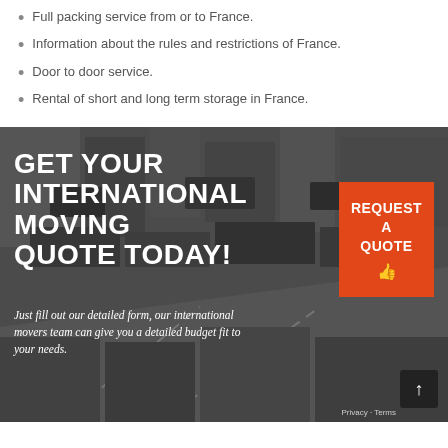Full packing service from or to France.
Information about the rules and restrictions of France.
Door to door service.
Rental of short and long term storage in France.
[Figure (photo): Black and white aerial/overhead photo of a busy urban street or logistics area with trucks and cargo, overlaid with text promoting international moving services and an orange 'Request a Quote' button.]